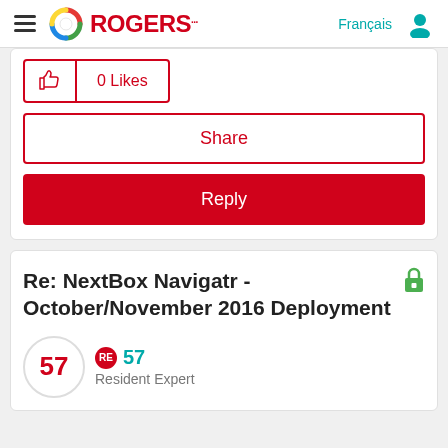Rogers - Français
0 Likes
Share
Reply
Re: NextBox Navigatr - October/November 2016 Deployment
57 RE 57 Resident Expert